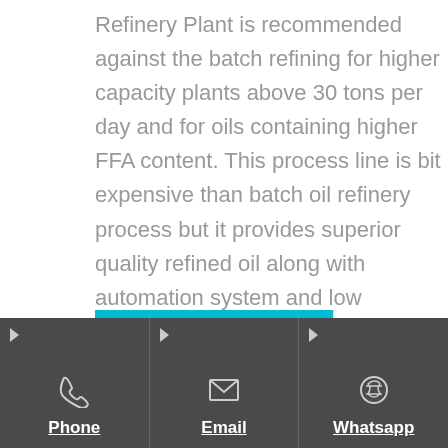Refinery Plant is recommended against the batch refining for higher capacity plants above 30 tons per day and for oils containing higher FFA content. This process line is bit expensive than batch oil refinery process but it provides superior quality refined oil along with automation system and low processing cost.
Send Inquiry
Phone | Email | Whatsapp